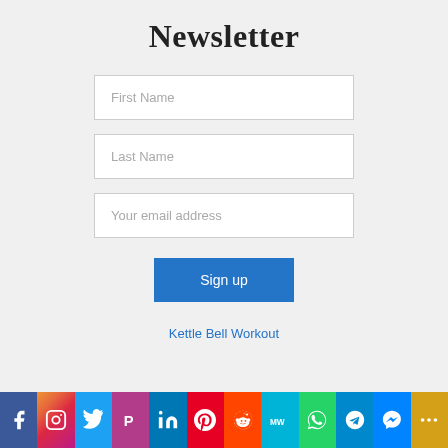Newsletter
First Name
Last Name
Your email address
Sign up
Kettle Bell Workout
[Figure (infographic): Social media sharing bar with icons for Facebook, Instagram, Twitter, Parler, LinkedIn, Pinterest, Reddit, MeWe, WhatsApp, Telegram, Messenger, and More]